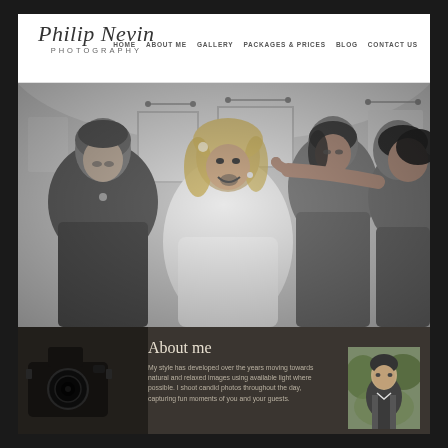Philip Nevin Photography
[Figure (photo): Navigation bar with logo 'Philip Nevin Photography' in script font on left, and nav links HOME, ABOUT ME, GALLERY, PACKAGES & PRICES, BLOG, CONTACT US on right]
[Figure (photo): Black and white photograph of a bride laughing and being attended to by three bridesmaids in an elegant room with large windows]
About me
My style has developed over the years moving towards natural and relaxed images using available light where possible. I shoot candid photos throughout the day, capturing fun moments of you and your guests.
[Figure (photo): Small portrait photo of a man in a vest/waistcoat outdoors]